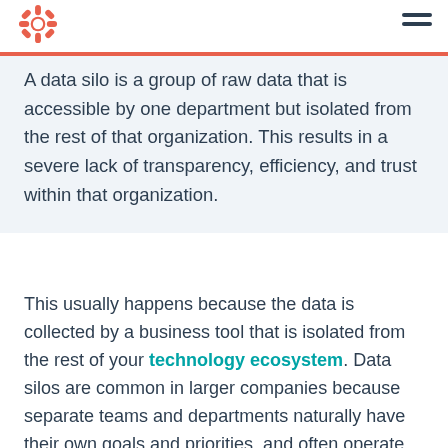HubSpot logo and navigation menu
A data silo is a group of raw data that is accessible by one department but isolated from the rest of that organization. This results in a severe lack of transparency, efficiency, and trust within that organization.
This usually happens because the data is collected by a business tool that is isolated from the rest of your technology ecosystem. Data silos are common in larger companies because separate teams and departments naturally have their own goals and priorities, and often operate separately.